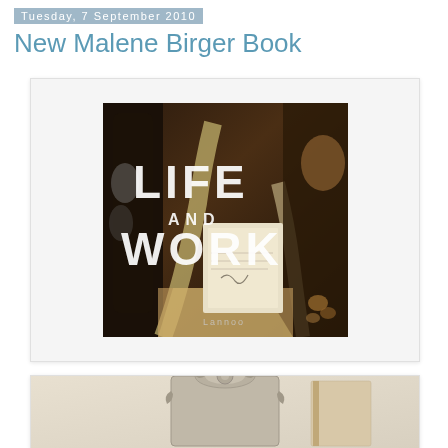Tuesday, 7 September 2010
New Malene Birger Book
[Figure (photo): Book cover of 'Life and Work' by Malene Birger, published by Lannoo. Shows the title text overlaid on a dark still-life photograph featuring bottles, animal horns, decorative objects, and natural elements in warm brown tones.]
[Figure (photo): Partial view of a decorative ornate silver/metallic clock or mirror frame, with a cream-colored background, cut off at the bottom of the page.]